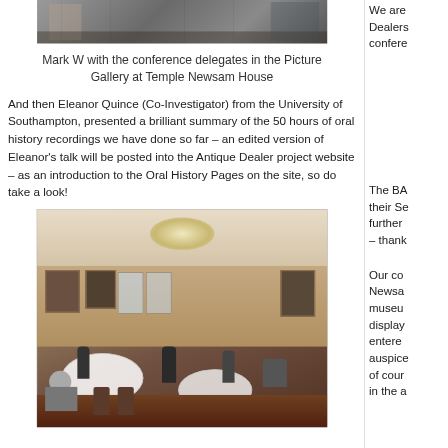[Figure (photo): Conference delegates in a gallery room at Temple Newsam House]
Mark W with the conference delegates in the Picture Gallery at Temple Newsam House
And then Eleanor Quince (Co-Investigator) from the University of Southampton, presented a brilliant summary of the 50 hours of oral history recordings we have done so far – an edited version of Eleanor's talk will be posted into the Antique Dealer project website – as an introduction to the Oral History Pages on the site, so do take a look!
[Figure (photo): Interior of Temple Newsam House with people gathered around tables in an ornate room with paintings on the walls]
We are Dealers conference
The BA their Se further – thank
Our co Newsa museu display entere auspice of cour in the a